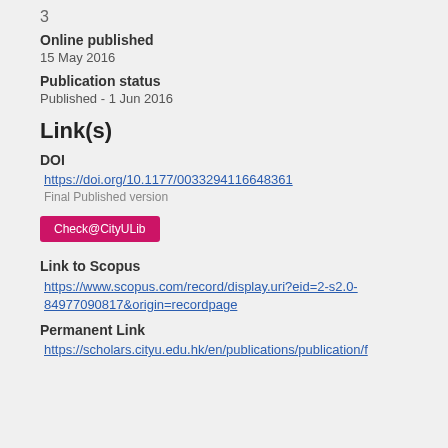3
Online published
15 May 2016
Publication status
Published - 1 Jun 2016
Link(s)
DOI
https://doi.org/10.1177/0033294116648361
Final Published version
Check@CityULib
Link to Scopus
https://www.scopus.com/record/display.uri?eid=2-s2.0-84977090817&origin=recordpage
Permanent Link
https://scholars.cityu.edu.hk/en/publications/publication/f